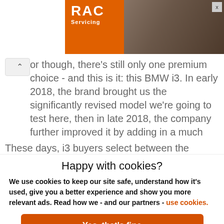[Figure (photo): RAC Servicing advertisement banner with orange background, RAC logo on left and mechanic/worker photo on right, with close X button]
or though, there's still only one premium choice - and this is it: this BMW i3. In early 2018, the brand brought us the significantly revised model we're going to test here, then in late 2018, the company further improved it by adding in a much gutsier 120Ah battery.
These days, i3 buyers select between the standard
Happy with cookies?
We use cookies to keep our site safe, understand how it's used, give you a better experience and show you more relevant ads. Read how we - and our partners - use cookies.